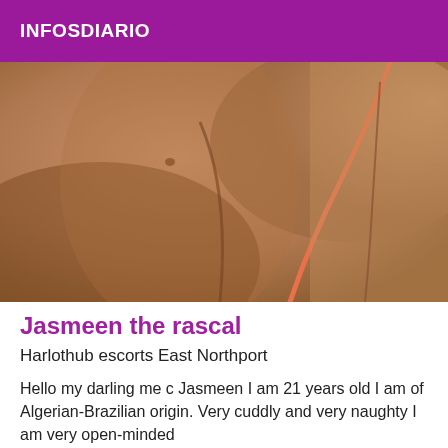INFOSDIARIO
[Figure (photo): Close-up photo with warm skin tones, brownish-tan background with an orange/pink curved line visible]
Jasmeen the rascal
Harlothub escorts East Northport
Hello my darling me c Jasmeen I am 21 years old I am of Algerian-Brazilian origin. Very cuddly and very naughty I am very open-minded